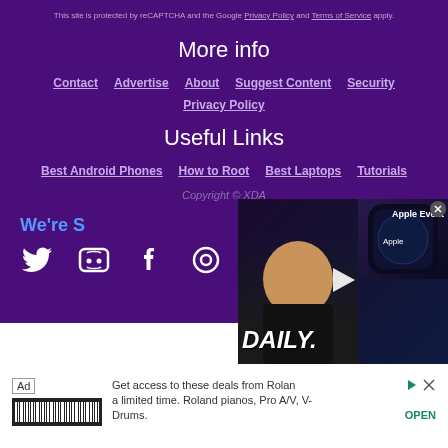This site is protected by reCAPTCHA and the Google Privacy Policy and Terms of Service apply.
More info
Contact
Advertise
About
Suggest Content
Security
Privacy Policy
Useful Links
Best Android Phones
How to Root
Best Laptops
Tutorials
Copyright © XDA
We're S...
[Figure (screenshot): Video thumbnail overlay showing a person with 'DAILY.' text and 'Apple Event' label with play button]
[Figure (other): Advertisement: Get access to these deals from Roland for a limited time. Roland pianos, Pro A/V, V-Drums.]